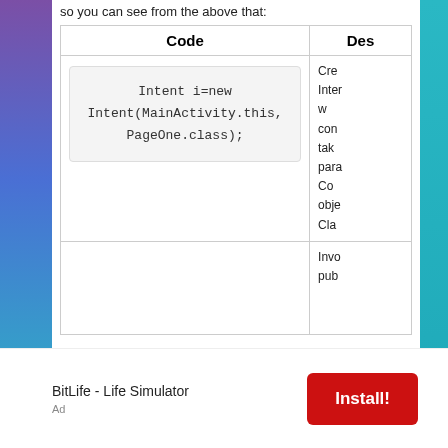so you can see from the above that:
| Code | Des |
| --- | --- |
| Intent i=new Intent(MainActivity.this, PageOne.class); | Cre
Inter
w
con
tak
para
Co
obje
Cla |
|  | Invo
pub |
BitLife - Life Simulator
Ad
Install!